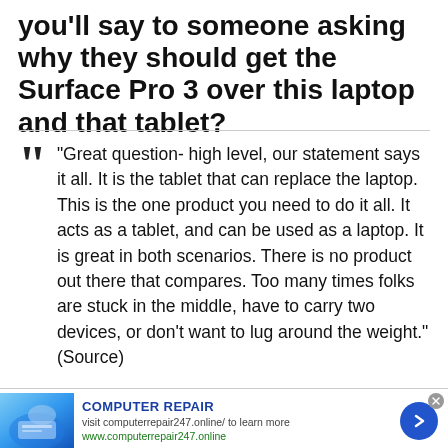you'll say to someone asking why they should get the Surface Pro 3 over this laptop and that tablet?
"Great question- high level, our statement says it all. It is the tablet that can replace the laptop. This is the one product you need to do it all. It acts as a tablet, and can be used as a laptop. It is great in both scenarios. There is no product out there that compares. Too many times folks are stuck in the middle, have to carry two devices, or don't want to lug around the weight." (Source)
[Figure (other): Advertisement banner for Computer Repair with image of hands on keyboard, text 'COMPUTER REPAIR', website visit prompt, URL www.computerrepair247.online, and blue arrow button]